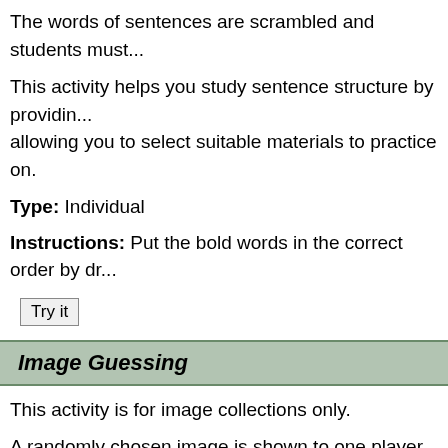The words of sentences are scrambled and students must...
This activity helps you study sentence structure by providing... allowing you to select suitable materials to practice on.
Type: Individual
Instructions: Put the bold words in the correct order by dr...
Try it
Image Guessing
This activity is for image collections only.
A randomly chosen image is shown to one player (called th... player (the "guesser") must identify it by asking questions.
This activity helps improve your communication skills and v...
Type: Collaboration in pairs
Instructions: The "describer" sees a single image and des... what their partner says, the "guesser" selects one of the im... correct image. If a timer is shown, the "guesser" must mak...